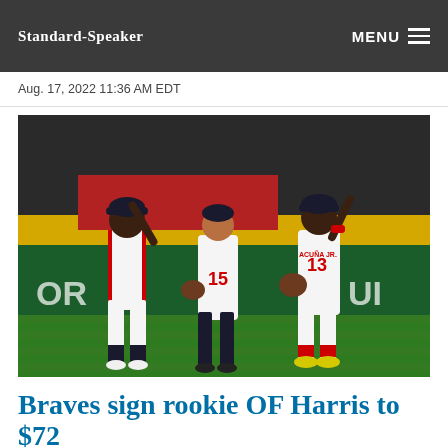Standard-Speaker
Aug. 17, 2022 11:36 AM EDT
[Figure (photo): Three Atlanta Braves outfielders in white uniforms celebrating on the field. The player on the right wears jersey number 13 with name ACUÑA JR. They are high-fiving near the outfield wall with green and yellow advertisement boards visible in the background.]
Braves sign rookie OF Harris to $72